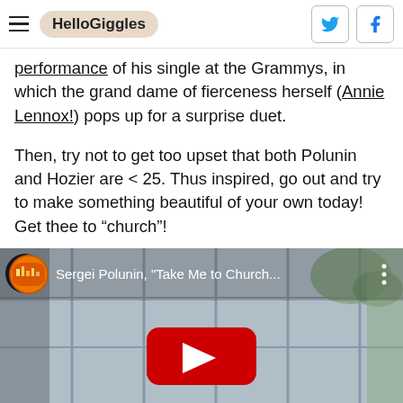HelloGiggles
performance of his single at the Grammys, in which the grand dame of fierceness herself (Annie Lennox!) pops up for a surprise duet.
Then, try not to get too upset that both Polunin and Hozier are < 25. Thus inspired, go out and try to make something beautiful of your own today! Get thee to “church”!
[Figure (screenshot): YouTube video thumbnail for Sergei Polunin, 'Take Me to Church...' showing a dancer in a room with windows and a large red YouTube play button overlay]